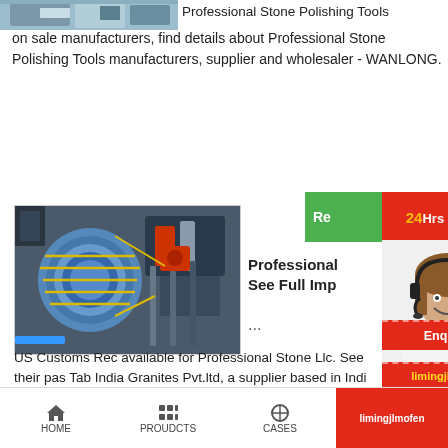[Figure (photo): Partial product image strip at top left, showing stone polishing machinery/tools]
Professional Stone Polishing Tools on sale manufacturers, find details about Professional Stone Polishing Tools manufacturers, supplier and wholesaler - WANLONG.
[Figure (photo): Industrial machinery photo showing large cylindrical blue coils/cables and mechanical equipment in a factory setting]
[Figure (photo): Chat support widget showing a woman with headset, 24Hrs Online banner, Need question & suggestion chat box, Chat Now button]
Professional
See Full Imp
...
US Customs Rec available for Professional Stone Llc. See their pas Tab India Granites Pvt.ltd, a supplier based in Indi shipping activity from Professional Stone Llc.
Re
24Hrs Online
Need qu & suggestion?
Chat Now
Enquiry
limingjlmofen
HOME   PROUDCTS   CASES   limingjlmofen